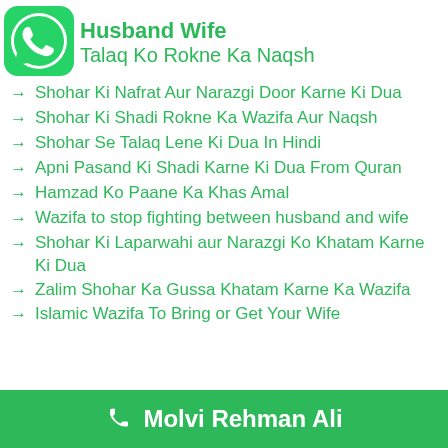[Figure (logo): WhatsApp green rounded square logo icon]
Husband Wife
Talaq Ko Rokne Ka Naqsh
→ Shohar Ki Nafrat Aur Narazgi Door Karne Ki Dua
→ Shohar Ki Shadi Rokne Ka Wazifa Aur Naqsh
→ Shohar Se Talaq Lene Ki Dua In Hindi
→ Apni Pasand Ki Shadi Karne Ki Dua From Quran
→ Hamzad Ko Paane Ka Khas Amal
→ Wazifa to stop fighting between husband and wife
→ Shohar Ki Laparwahi aur Narazgi Ko Khatam Karne Ki Dua
→ Zalim Shohar Ka Gussa Khatam Karne Ka Wazifa
→ Islamic Wazifa To Bring or Get Your Wife
Molvi Rehman Ali